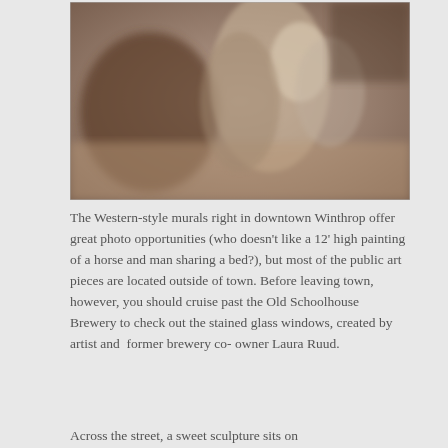[Figure (photo): A blurry/soft-focus photo showing Western-style figures or sculptures, with warm brown and beige tones, indoor setting.]
The Western-style murals right in downtown Winthrop offer great photo opportunities (who doesn't like a 12' high painting of a horse and man sharing a bed?), but most of the public art pieces are located outside of town. Before leaving town, however, you should cruise past the Old Schoolhouse Brewery to check out the stained glass windows, created by artist and  former brewery co- owner Laura Ruud.
Across the street, a sweet sculpture sits on